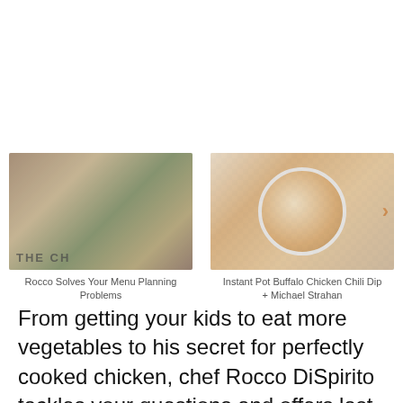[Figure (photo): Two people talking at a market stand with produce in background; text 'THE CH' visible at the bottom]
Rocco Solves Your Menu Planning Problems
[Figure (photo): Bowl of Buffalo Chicken Chili Dip on a blue and white checkered cloth]
Instant Pot Buffalo Chicken Chili Dip + Michael Strahan
From getting your kids to eat more vegetables to his secret for perfectly cooked chicken, chef Rocco DiSpirito tackles your questions and offers last-minute holiday cooking tips.